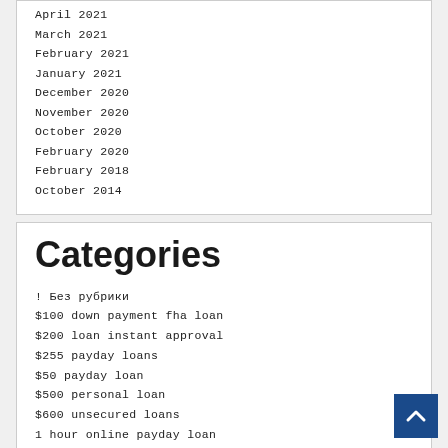April 2021
March 2021
February 2021
January 2021
December 2020
November 2020
October 2020
February 2020
February 2018
October 2014
Categories
! Без рубрики
$100 down payment fha loan
$200 loan instant approval
$255 payday loans
$50 payday loan
$500 personal loan
$600 unsecured loans
1 hour online payday loan